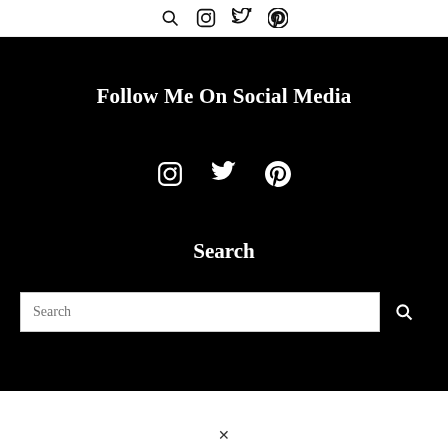Search Instagram Twitter Pinterest icons
Follow Me On Social Media
[Figure (other): Social media icons row: Instagram, Twitter, Pinterest in white on black background]
Search
[Figure (other): Search input bar with search button icon]